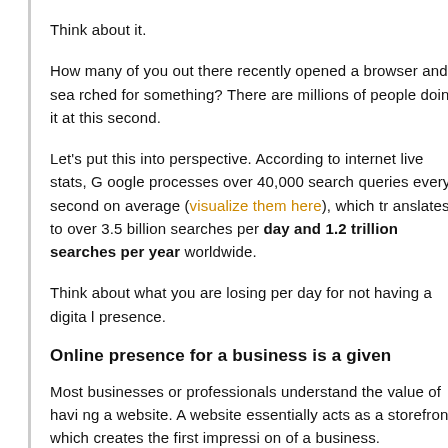Think about it.
How many of you out there recently opened a browser and searched for something? There are millions of people doing it at this second.
Let's put this into perspective. According to internet live stats, Google processes over 40,000 search queries every second on average (visualize them here), which translates to over 3.5 billion searches per day and 1.2 trillion searches per year worldwide.
Think about what you are losing per day for not having a digital presence.
Online presence for a business is a given
Most businesses or professionals understand the value of having a website. A website essentially acts as a storefront which creates the first impression of a business.
Unfortunately this is all most people see. What the general public does not see is below the surface, what happens behind the scene.
Having a website does not guarantee you traffic or visitors to your website.